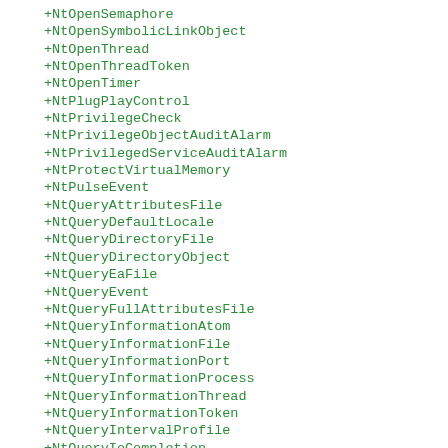+NtOpenSemaphore
+NtOpenSymbolicLinkObject
+NtOpenThread
+NtOpenThreadToken
+NtOpenTimer
+NtPlugPlayControl
+NtPrivilegeCheck
+NtPrivilegeObjectAuditAlarm
+NtPrivilegedServiceAuditAlarm
+NtProtectVirtualMemory
+NtPulseEvent
+NtQueryAttributesFile
+NtQueryDefaultLocale
+NtQueryDirectoryFile
+NtQueryDirectoryObject
+NtQueryEaFile
+NtQueryEvent
+NtQueryFullAttributesFile
+NtQueryInformationAtom
+NtQueryInformationFile
+NtQueryInformationPort
+NtQueryInformationProcess
+NtQueryInformationThread
+NtQueryInformationToken
+NtQueryIntervalProfile
+NtQueryIoCompletion
+NtQueryKey
+NtQueryMultipleValueKey
+NtQueryMutant
+NtQueryObject
+NtQueryOleDirectoryFile
+NtQueryPerformanceCounter